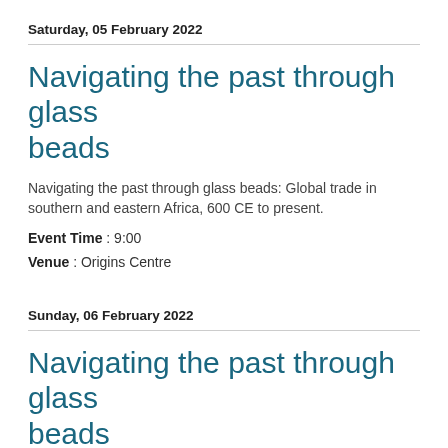Saturday, 05 February 2022
Navigating the past through glass beads
Navigating the past through glass beads: Global trade in southern and eastern Africa, 600 CE to present.
Event Time : 9:00
Venue : Origins Centre
Sunday, 06 February 2022
Navigating the past through glass beads